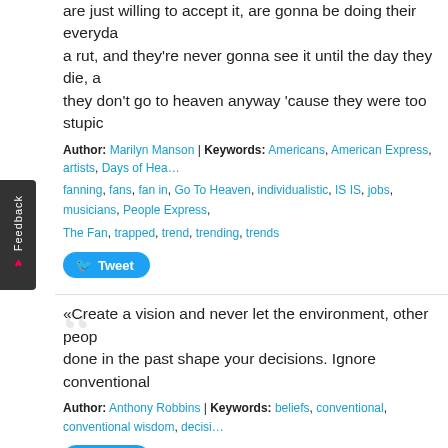are just willing to accept it, are gonna be doing their everyday thing in a rut, and they're never gonna see it until the day they die, and then they don't go to heaven anyway 'cause they were too stupid
Author: Marilyn Manson | Keywords: Americans, American Express, artists, Days of Hea... fanning, fans, fan in, Go To Heaven, individualistic, IS IS, jobs, musicians, People Express, The Fan, trapped, trend, trending, trends
Tweet
«Create a vision and never let the environment, other people's opinions or the things you've done in the past shape your decisions. Ignore conventional
Author: Anthony Robbins | Keywords: beliefs, conventional, conventional wisdom, decisi...
Tweet
«A man who has depths in his shame meets his destiny and his delicate decisions upon paths which few ever reach . . . .»
Author: Friedrich Nietzsche (Critic, Philosopher, Scholar) | Keywords: decisions, delicate, shamed, shames, shaming